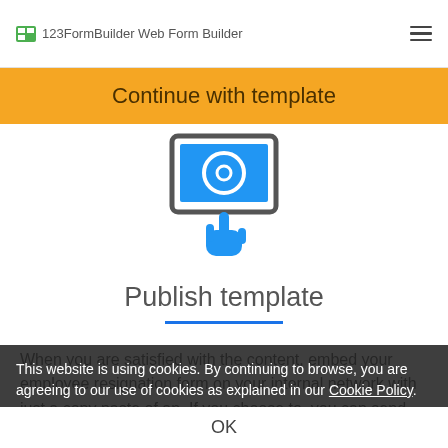123FormBuilder Web Form Builder
Continue with template
[Figure (illustration): Blue icon of a finger pointer/hand touching a screen/tablet button]
Publish template
When you are satisfied with the content, embed your employee resignation form on your internal network with just a copy paste of an. If you choose to, you can send the form URL email to both existing employees and new recruits. With mobile responsive layout, the form is accessible to fill out even from small devices.
This website is using cookies. By continuing to browse, you are agreeing to our use of cookies as explained in our Cookie Policy.
OK